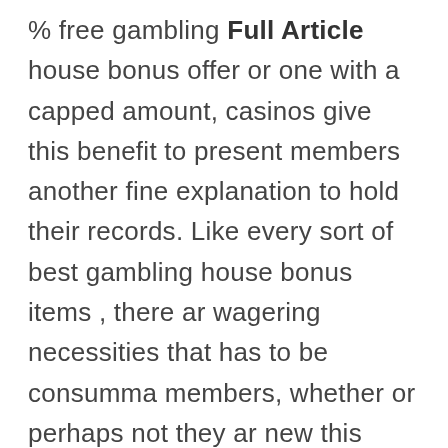% free gambling Full Article house bonus offer or one with a capped amount, casinos give this benefit to present members another fine explanation to hold their records. Like every sort of best gambling house bonus items , there ar wagering necessities that has to be consumma members, whether or perhaps not they ar new this video game or perhaps seasoned gambling house buyers, ought to fastidiously surf these requirements before they take a look at inside of to any reward, whether or perhaps not that capabilities no cost moves gambling house Britain or perhaps not. From big company only directly steady but we are a website that offers comprehensive betting, whether betting online